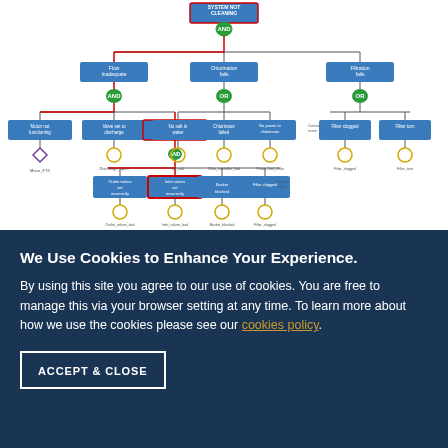[Figure (flowchart): Fault tree / flowchart diagram titled 'SYSTEM NOT CLEANING' showing a hierarchical breakdown of pool system issues. Top node 'SYSTEM NOT CLEANING' branches via an AND gate to three main causes: 'Flow Inadequate', 'Chlorination fails', and 'Filtration fails'. 'Flow Inadequate' via AND gate leads to 'Motor not functioning', 'Valve set to discharge', and 'Flow restricted'. 'Motor not functioning' has a diamond event 'Motor_FTS'. 'Valve set to discharge' has circle event 'Discharge_open'. 'Flow restricted' via AND gate leads to 'Outlet valves set incorrectly', 'Inlet valves set incorrectly' (highlighted with red border), 'Basket blocked', and 'Filter clogged' with a common event. Below these are circle events: 'Outlet_valves_bad', 'Inlet_valves_bad', 'Basket_blocked', 'Filter_clogged'. 'Chlorination fails' via OR gate leads to 'No salt in water', 'Chlorinator failed', 'No power to chlorinator'. Below these: circle events 'No_salt', 'Chlor_controller_bad', 'Power_loss_chlor'. 'Filtration fails' via OR gate leads to 'Filter clogged' and 'Filter torn' with a common event node. Below: 'Filter_clogged', 'Filter_torn'. A red highlighted path traces from the top through 'Flow Inadequate' and 'Inlet valves set incorrectly'.]
We Use Cookies to Enhance Your Experience.
By using this site you agree to our use of cookies. You are free to manage this via your browser setting at any time. To learn more about how we use the cookies please see our cookies policy.
ACCEPT & CLOSE